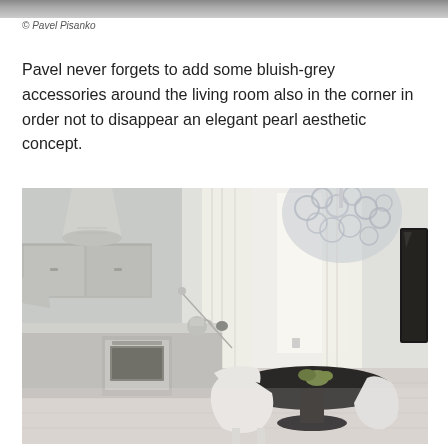[Figure (photo): Partial top edge of a room interior photograph, cropped]
© Pavel Pisanko
Pavel never forgets to add some bluish-grey accessories around the living room also in the corner in order not to disappear an elegant pearl aesthetic concept.
[Figure (photo): Modern white interior kitchen and dining room with a large decorative chandelier made of glass rings, round black dining table with green apples, white chairs, kitchen appliances including oven and range hood, large window with white drapes, and a wall-mounted flat-screen TV.]